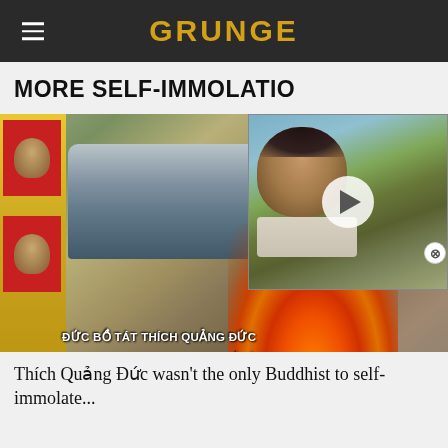GRUNGE
MORE SELF-IMMOLATIO
[Figure (photo): Main photo showing a framed photograph of the self-immolation of Thích Quảng Đức with a car in the background, fire in the foreground, and Vietnamese text overlay reading 'ĐỨC BỒ TÁT THÍCH QUẢNG ĐỨC / TỰ THIÊU NGÀY 11 - 6 - 1963 ĐỂ BẢO VỆ PHẬT'. A separate video thumbnail overlay shows a man's face with a play button. Left strip shows monk portrait photos. Attribution: SenseiSam/Wikipedia Commons]
Thích Quảng Đức wasn't the only Buddhist to self-immolate...